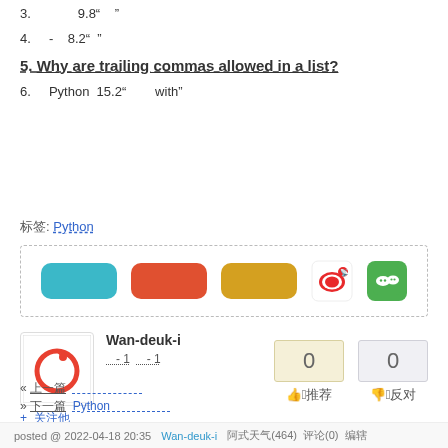3.   9.8“”
4.   - 8.2“”
5. Why are trailing commas allowed in a list?
6.   Python 15.2“ with”
标签: Python
[Figure (infographic): Social share buttons: blue button with Chinese text, red button with Chinese text, gold/yellow button with Chinese text, Weibo icon, WeChat icon]
Wan-deuk-i
 1   1
+关注他
0 👍推荐    0 👎反对
« 上一篇
» 下一篇 Python
posted @ 2022-04-18 20:35  Wan-deuk-i  阿式天气(464)  评论(0)  编辑